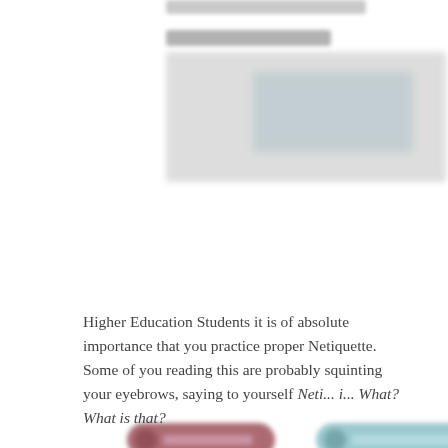[Figure (screenshot): Blurred/redacted screenshot of a web page or social media post, with profile or header content obscured for privacy]
[Figure (other): Two blurred social/profile buttons — one with a dark red/maroon circular icon on the left, one with a teal circular icon on the right]
Higher Education Students it is of absolute importance that you practice proper Netiquette. Some of you reading this are probably squinting your eyebrows, saying to yourself Neti... i... What? What is that?